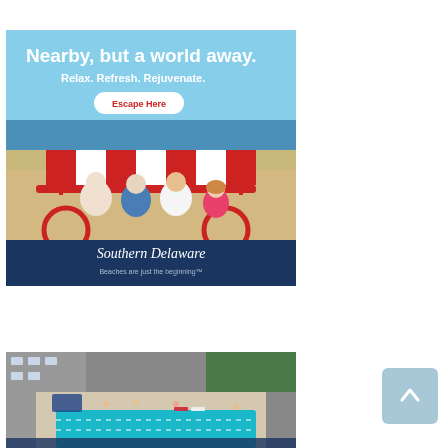[Figure (illustration): Advertisement for Southern Delaware tourism. Beach scene with a family of four riding a red and white striped surrey bike near the ocean. Text overlays read 'Nearby, but a world away.', 'Relax. Refresh. Rejuvenate.', and a button 'Escape Here'. Bottom blue band shows script logo 'Southern Delaware' with tagline 'Beaches are just the beginning™'.]
[Figure (photo): Aerial view of a hotel or resort pool area in an urban setting. Turquoise pool visible at bottom, surrounded by lounge chairs and people. Buildings and trees visible in the background.]